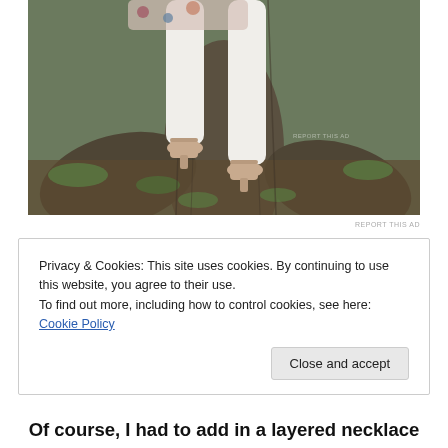[Figure (photo): Lower half of a person standing near large tree roots, wearing white pants, floral top, and tan/nude heeled shoes with ankle straps. The setting is outdoor with grass and exposed tree roots.]
REPORT THIS AD
Privacy & Cookies: This site uses cookies. By continuing to use this website, you agree to their use.
To find out more, including how to control cookies, see here: Cookie Policy
Close and accept
Of course, I had to add in a layered necklace